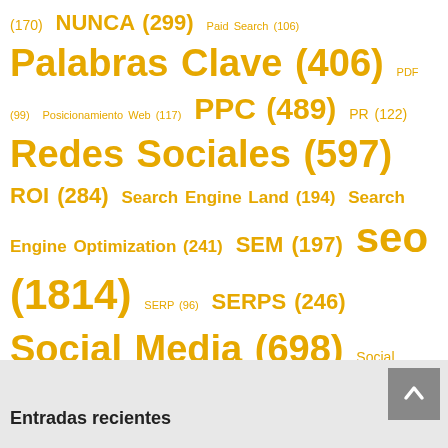(170) NUNCA (299) Paid Search (106) Palabras Clave (406) PDF (99) Posicionamiento Web (117) PPC (489) PR (122) Redes Sociales (597) ROI (284) Search Engine Land (194) Search Engine Optimization (241) SEM (197) seo (1814) SERP (96) SERPS (246) Social Media (698) Social Media Marketing (128) SPAM (203) TV (129) URL (451) US (168) USA (103) WEB (1271) WWW (170)
Entradas recientes